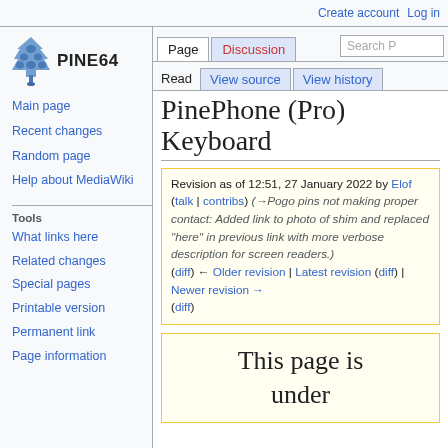Create account  Log in
[Figure (logo): PINE64 logo - blue pinecone icon with text PINE64]
Main page
Recent changes
Random page
Help about MediaWiki
Tools
What links here
Related changes
Special pages
Printable version
Permanent link
Page information
PinePhone (Pro) Keyboard
Revision as of 12:51, 27 January 2022 by Elof (talk | contribs) (→Pogo pins not making proper contact: Added link to photo of shim and replaced "here" in previous link with more verbose description for screen readers.) (diff) ← Older revision | Latest revision (diff) | Newer revision → (diff)
This page is under